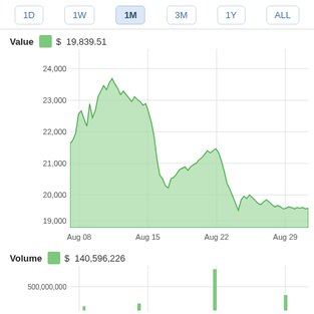[Figure (screenshot): Time period selector tabs: 1D, 1W, 1M (selected), 3M, 1Y, ALL]
[Figure (area-chart): Area chart showing value from ~24,000 peaking near 25,500 around Aug 14-15, then declining to ~19,839 by end of August]
[Figure (bar-chart): Volume $ 140,596,226]